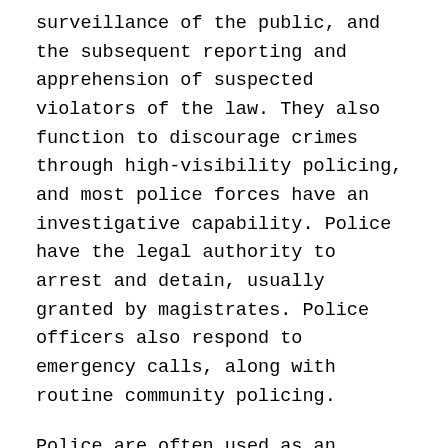surveillance of the public, and the subsequent reporting and apprehension of suspected violators of the law. They also function to discourage crimes through high-visibility policing, and most police forces have an investigative capability. Police have the legal authority to arrest and detain, usually granted by magistrates. Police officers also respond to emergency calls, along with routine community policing.
Police are often used as an emergency service and may provide a public safety function at large gatherings, as well as in emergencies, disasters, search and rescue situations, and road traffic collisions. To provide a prompt response in emergencies, the police often coordinate their operations with fire and emergency medical services. In some countries, individuals serve jointly as police officers as well as firefighters (creating the role of fire police). In many countries, there is a common emergency service number